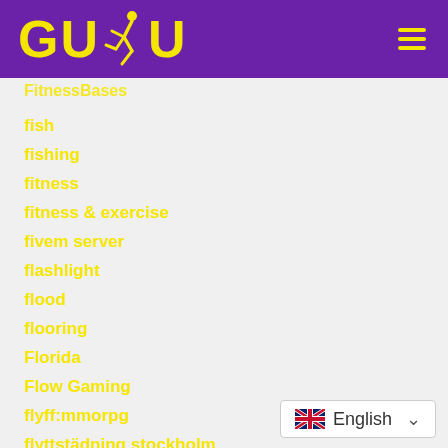[Figure (logo): GUDU logo with running figure silhouette in yellow on purple background, with hamburger menu icon on the right]
FitnessBases
fish
fishing
fitness
fitness & exercise
fivem server
flashlight
flood
flooring
Florida
Flow Gaming
flyff:mmorpg
flyttstädning stockholm
[Figure (screenshot): Language selector widget showing UK flag and 'English' with dropdown arrow]